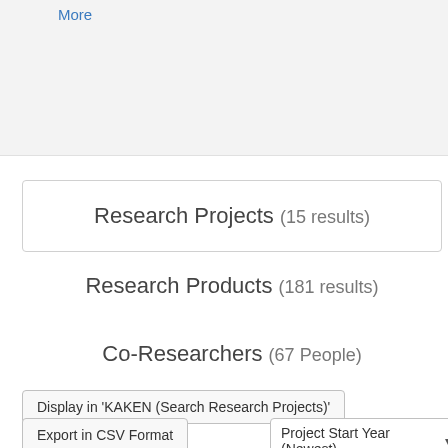More
Research Projects (15 results)
Research Products (181 results)
Co-Researchers (67 People)
Display in 'KAKEN (Search Research Projects)'
Export in CSV Format
Project Start Year (Newest)